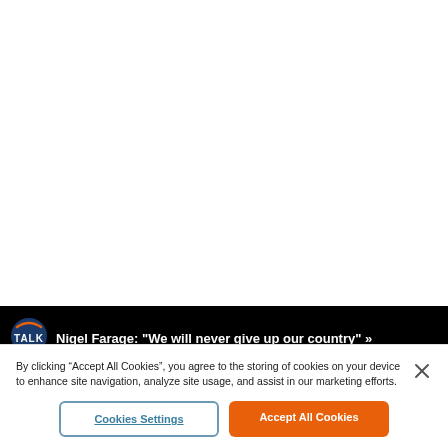[Figure (screenshot): Black banner with TALK logo (circle with blue/orange arc) and partial white headline text]
By clicking “Accept All Cookies”, you agree to the storing of cookies on your device to enhance site navigation, analyze site usage, and assist in our marketing efforts.
Cookies Settings
Accept All Cookies